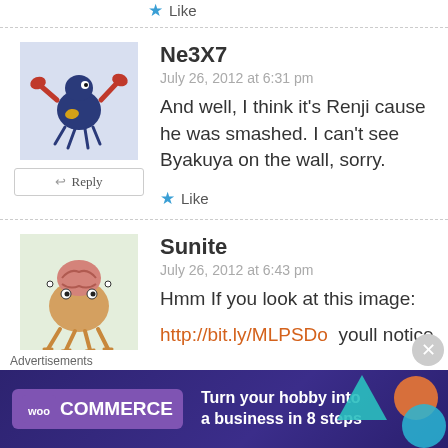Like
Ne3X7
July 26, 2012 at 6:31 pm
And well, I think it's Renji cause he was smashed. I can't see Byakuya on the wall, sorry.
Like
Sunite
July 26, 2012 at 6:43 pm
Hmm If you look at this image:
http://bit.ly/MLPSDo  youll notice
Advertisements
Turn your hobby into a business in 8 steps